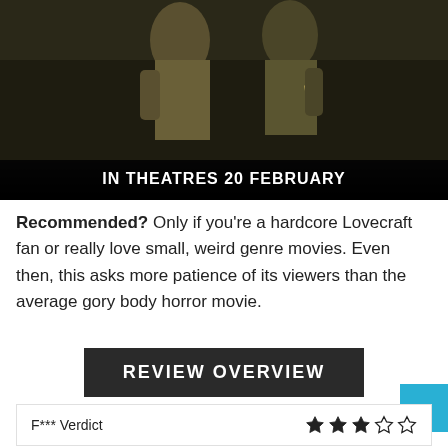[Figure (photo): Movie still showing a person in a sheriff's uniform. A red banner/logo is visible at the top. Text at the bottom reads 'IN THEATRES 20 FEBRUARY' on a dark background.]
Recommended? Only if you're a hardcore Lovecraft fan or really love small, weird genre movies. Even then, this asks more patience of its viewers than the average gory body horror movie.
REVIEW OVERVIEW
|  |  |
| --- | --- |
| F*** Verdict | ★★★☆☆ |